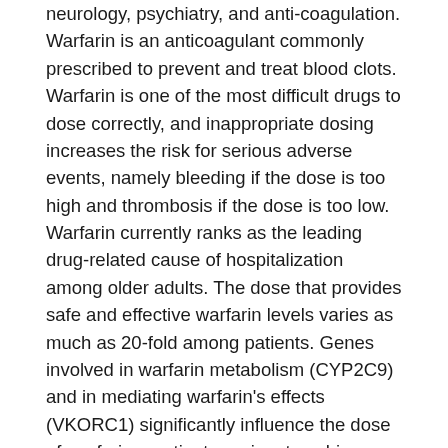neurology, psychiatry, and anti-coagulation. Warfarin is an anticoagulant commonly prescribed to prevent and treat blood clots. Warfarin is one of the most difficult drugs to dose correctly, and inappropriate dosing increases the risk for serious adverse events, namely bleeding if the dose is too high and thrombosis if the dose is too low. Warfarin currently ranks as the leading drug-related cause of hospitalization among older adults. The dose that provides safe and effective warfarin levels varies as much as 20-fold among patients. Genes involved in warfarin metabolism (CYP2C9) and in mediating warfarin's effects (VKORC1) significantly influence the dose of warfarin a patient requires to achieve optimal